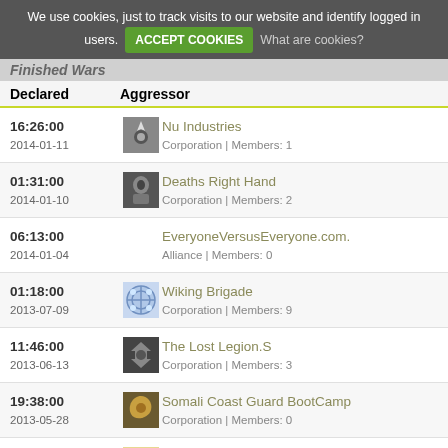We use cookies, just to track visits to our website and identify logged in users. ACCEPT COOKIES What are cookies?
Finished Wars
| Declared | Aggressor |
| --- | --- |
| 16:26:00
2014-01-11 | Nu Industries
Corporation | Members: 1 |
| 01:31:00
2014-01-10 | Deaths Right Hand
Corporation | Members: 2 |
| 06:13:00
2014-01-04 | EveryoneVersusEveryone.com.
Alliance | Members: 0 |
| 01:18:00
2013-07-09 | Wiking Brigade
Corporation | Members: 9 |
| 11:46:00
2013-06-13 | The Lost Legion.S
Corporation | Members: 3 |
| 19:38:00
2013-05-28 | Somali Coast Guard BootCamp
Corporation | Members: 0 |
| 11:36:00
2013-05-28 | Zusjabry Inc.
Corporation | Members: 1 |
| 17:35:43
2013-05-25 | My Little Ponies of the...
Corporation | Members: 0 |
| 17:35:43
2013-05-25 | Zusjabry Inc.
Corporation | Members: 1 |